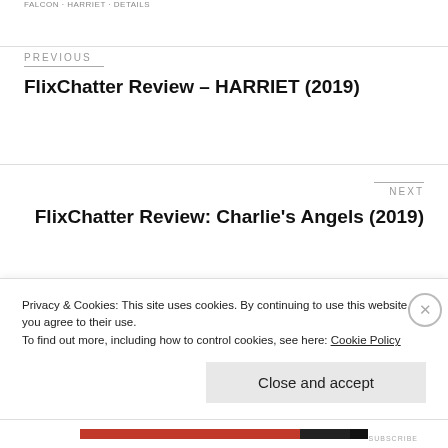FALCON · HARRIET · DETAILS
PREVIOUS
FlixChatter Review – HARRIET (2019)
NEXT
FlixChatter Review: Charlie's Angels (2019)
Privacy & Cookies: This site uses cookies. By continuing to use this website, you agree to their use.
To find out more, including how to control cookies, see here: Cookie Policy
Close and accept